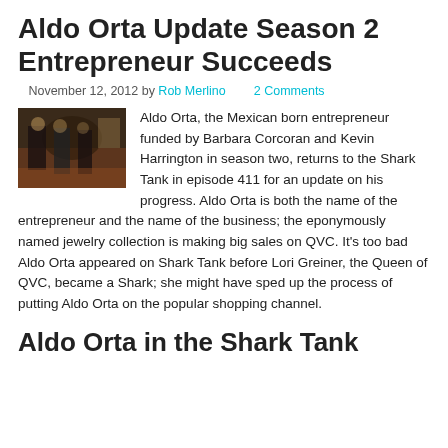Aldo Orta Update Season 2 Entrepreneur Succeeds
November 12, 2012 by Rob Merlino   2 Comments
[Figure (photo): Photo of Aldo Orta in the Shark Tank set, dark background with people standing]
Aldo Orta, the Mexican born entrepreneur funded by Barbara Corcoran and Kevin Harrington in season two, returns to the Shark Tank in episode 411 for an update on his progress. Aldo Orta is both the name of the entrepreneur and the name of the business; the eponymously named jewelry collection is making big sales on QVC. It's too bad Aldo Orta appeared on Shark Tank before Lori Greiner, the Queen of QVC, became a Shark; she might have sped up the process of putting Aldo Orta on the popular shopping channel.
Aldo Orta in the Shark Tank